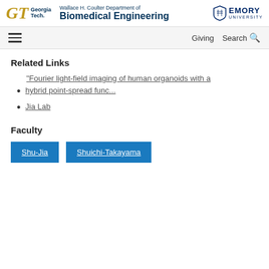[Figure (logo): Georgia Tech and Wallace H. Coulter Department of Biomedical Engineering and Emory University logos in the header]
Giving  Search
Related Links
"Fourier light-field imaging of human organoids with a hybrid point-spread func...
Jia Lab
Faculty
Shu-Jia
Shuichi-Takayama